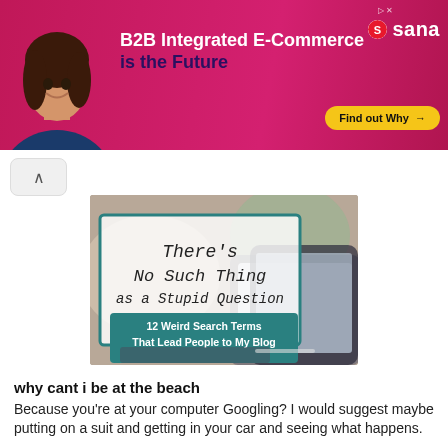[Figure (screenshot): Advertisement banner for Sana: B2B Integrated E-Commerce is the Future, with a woman smiling, Sana logo, and 'Find out Why' call-to-action button]
[Figure (photo): Blog post featured image showing a tablet on a desk with text overlay: 'There's No Such Thing as a Stupid Question' and a teal box with '12 Weird Search Terms That Lead People to My Blog']
why cant i be at the beach
Because you're at your computer Googling? I would suggest maybe putting on a suit and getting in your car and seeing what happens.